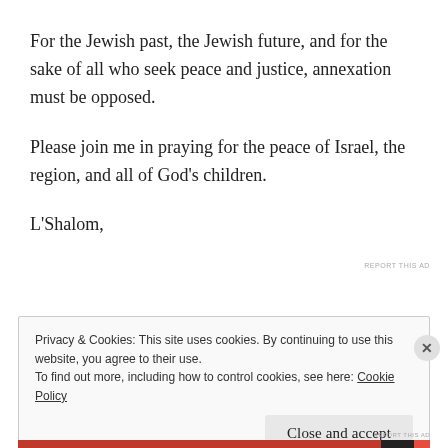For the Jewish past, the Jewish future, and for the sake of all who seek peace and justice, annexation must be opposed.
Please join me in praying for the peace of Israel, the region, and all of God's children.
L'Shalom,
REPORT THIS AD
Privacy & Cookies: This site uses cookies. By continuing to use this website, you agree to their use.
To find out more, including how to control cookies, see here: Cookie Policy
Close and accept